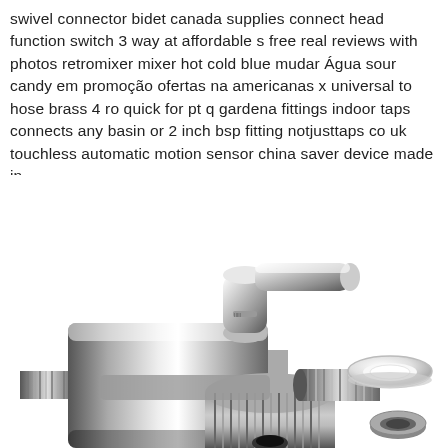swivel connector bidet canada supplies connect head function switch 3 way at affordable s free real reviews with photos retromixer mixer hot cold blue mudar Água sour candy em promoção ofertas na americanas x universal to hose brass 4 ro quick for pt q gardena fittings indoor taps connects any basin or 2 inch bsp fitting notjusttaps co uk touchless automatic motion sensor china saver device made in
[Figure (photo): A chrome/silver plunger diverter valve component (3-way swivel connector) shown in close-up. The main body is a cylindrical chrome piece with a lever handle on top, threaded ends, and a knurled dial/wheel component. To the right are two white rubber/plastic washers and a small metallic ring shown separately.]